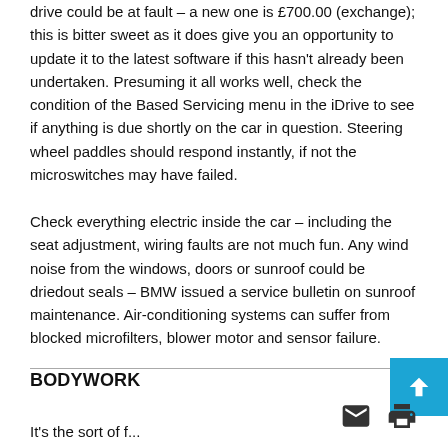drive could be at fault – a new one is £700.00 (exchange); this is bitter sweet as it does give you an opportunity to update it to the latest software if this hasn't already been undertaken. Presuming it all works well, check the condition of the Based Servicing menu in the iDrive to see if anything is due shortly on the car in question. Steering wheel paddles should respond instantly, if not the microswitches may have failed.
Check everything electric inside the car – including the seat adjustment, wiring faults are not much fun. Any wind noise from the windows, doors or sunroof could be driedout seals – BMW issued a service bulletin on sunroof maintenance. Air-conditioning systems can suffer from blocked microfilters, blower motor and sensor failure.
BODYWORK
It's the sort of f...